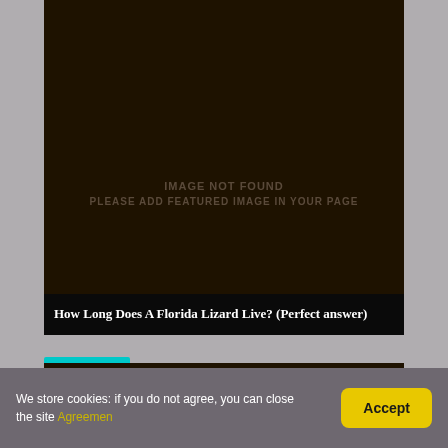[Figure (other): Dark brown placeholder image with 'IMAGE NOT FOUND / PLEASE ADD FEATURED IMAGE IN YOUR PAGE' text in muted brown uppercase letters]
Interesting
How Long Does A Florida Lizard Live? (Perfect answer)
[Figure (other): Second dark brown placeholder image card, partially visible]
We store cookies: if you do not agree, you can close the site Agreemen
Accept